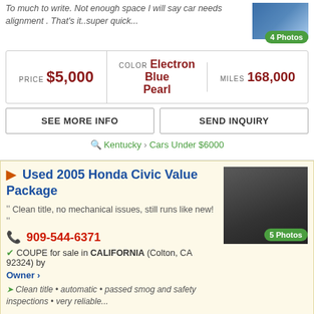To much to write. Not enough space I will say car needs alignment . That's it..super quick...
[Figure (photo): Car photo with 4 Photos badge]
| PRICE | COLOR | MILES |
| --- | --- | --- |
| $5,000 | Electron Blue Pearl | 168,000 |
SEE MORE INFO | SEND INQUIRY
Kentucky > Cars Under $6000
Used 2005 Honda Civic Value Package
Clean title, no mechanical issues, still runs like new!
909-544-6371
COUPE for sale in CALIFORNIA (Colton, CA 92324) by Owner
[Figure (photo): Honda Civic car photo with 5 Photos badge]
Clean title • automatic • passed smog and safety inspections • very reliable...
| PRICE | COLOR | MILES |
| --- | --- | --- |
| $4,995 | Black | 167,000 |
SEE MORE INFO | SEND INQUIRY | Top